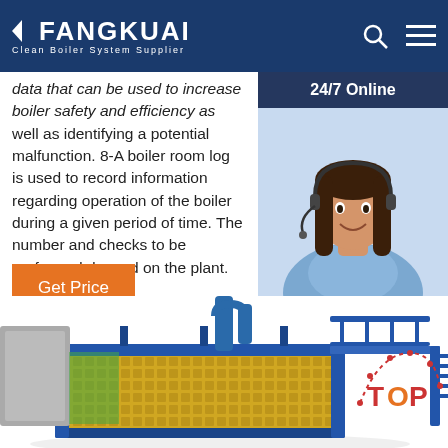FANGKUAI Clean Boiler System Supplier
data that can be used to increase boiler safety and efficiency as well as identifying a potential malfunction. 8-A boiler room log is used to record information regarding operation of the boiler during a given period of time. The number and checks to be performed depend on the plant.
Get Price
[Figure (photo): Customer service representative smiling, wearing a headset, with '24/7 Online' banner above and 'Click here for free chat! QUOTATION' below]
[Figure (engineering-diagram): 3D rendering of an industrial boiler system showing a large blue and yellow industrial boiler unit with piping and walkways, with a TOP badge in the corner]